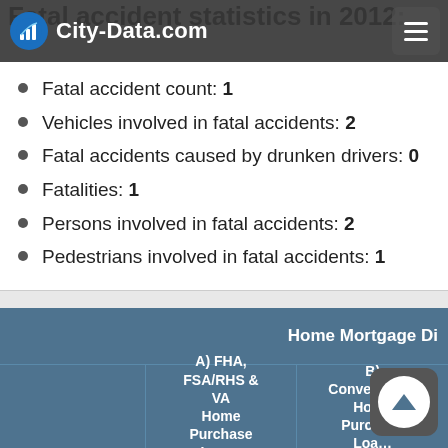City-Data.com
Fatal accident statistics in 2012:
Fatal accident count: 1
Vehicles involved in fatal accidents: 2
Fatal accidents caused by drunken drivers: 0
Fatalities: 1
Persons involved in fatal accidents: 2
Pedestrians involved in fatal accidents: 1
|  | A) FHA, FSA/RHS & VA Home Purchase Loans | B) Conventional Home Purchase Loans |
| --- | --- | --- |